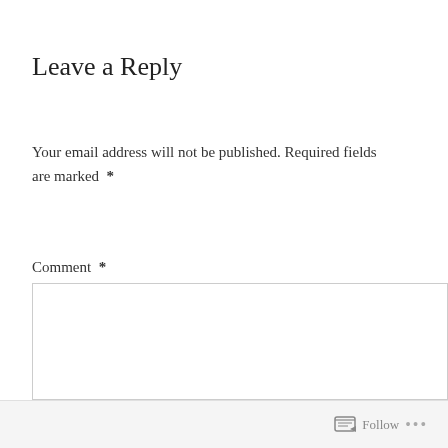Leave a Reply
Your email address will not be published. Required fields are marked  *
Comment  *
Follow ...